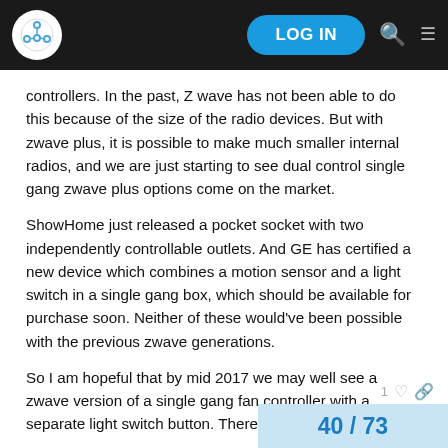LOG IN
controllers. In the past, Z wave has not been able to do this because of the size of the radio devices. But with zwave plus, it is possible to make much smaller internal radios, and we are just starting to see dual control single gang zwave plus options come on the market.
ShowHome just released a pocket socket with two independently controllable outlets. And GE has certified a new device which combines a motion sensor and a light switch in a single gang box, which should be available for purchase soon. Neither of these would've been possible with the previous zwave generations.
So I am hopeful that by mid 2017 we may well see a zwave version of a single gang fan controller with a separate light switch button. There just aren't any yet.
40 / 73